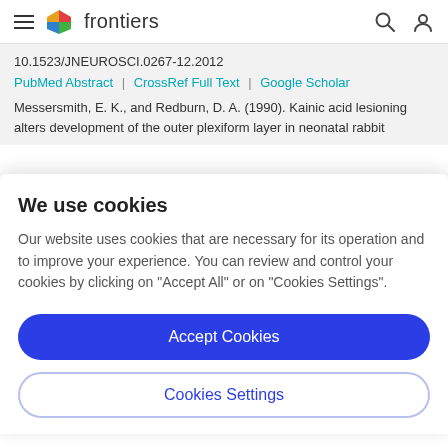frontiers
10.1523/JNEUROSCI.0267-12.2012
PubMed Abstract | CrossRef Full Text | Google Scholar
Messersmith, E. K., and Redburn, D. A. (1990). Kainic acid lesioning alters development of the outer plexiform layer in neonatal rabbit
We use cookies
Our website uses cookies that are necessary for its operation and to improve your experience. You can review and control your cookies by clicking on "Accept All" or on "Cookies Settings".
Accept Cookies
Cookies Settings